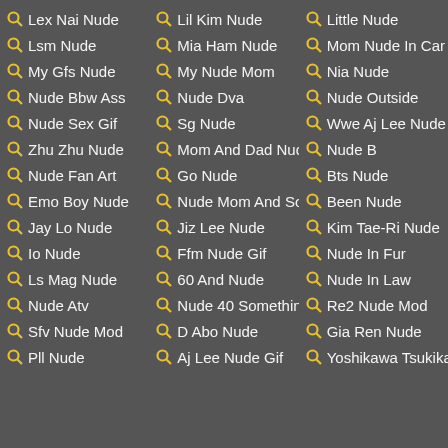Lex Nai Nude
Lil Kim Nude
Little Nude
Lsm Nude
Mia Ham Nude
Mom Nude In Car
My Gfs Nude
My Nude Mom
Nia Nude
Nude Bbw Ass
Nude Dva
Nude Outside
Nude Sex Gif
Sg Nude
Wwe Aj Lee Nude
Zhu Zhu Nude
Mom And Dad Nud
Nude B
Nude Fan Art
Go Nude
Bts Nude
Emo Boy Nude
Nude Mom And So
Been Nude
Jay Lo Nude
Jiz Lee Nude
Kim Tae-Ri Nude
Io Nude
Ffm Nude Gif
Nude In Fur
Ls Mag Nude
60 And Nude
Nude In Law
Nude Atv
Nude 40 Somethin
Re2 Nude Mod
Sfv Nude Mod
D Abo Nude
Gia Ren Nude
Pll Nude
Aj Lee Nude Gif
Yoshikawa Tsukika